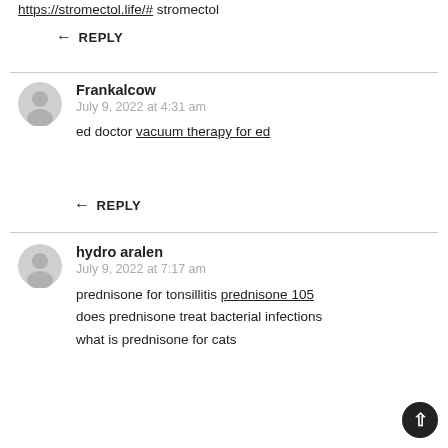https://stromectol.life/# stromectol
↩ REPLY
Frankalcow
July 9, 2022 at 4:31 am
ed doctor vacuum therapy for ed
↩ REPLY
hydro aralen
July 9, 2022 at 7:17 am
prednisone for tonsillitis prednisone 105 does prednisone treat bacterial infections what is prednisone for cats